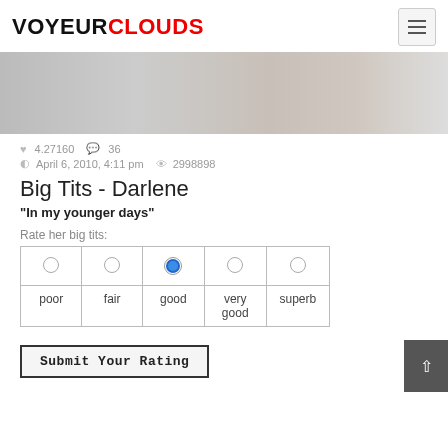VOYEURCLOUDS
[Figure (photo): Grayscale photo strip of a person outdoors]
♥ 4.27160  ● 36
April 6, 2010, 4:11 pm  👁 2998898
Big Tits - Darlene
"In my younger days"
Rate her big tits:
| ○ | ○ | ● | ○ | ○ |
| poor | fair | good | very good | superb |
Submit Your Rating